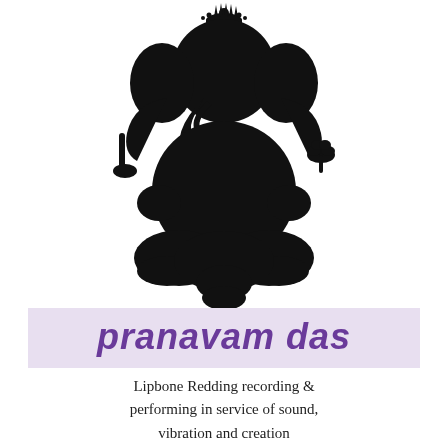[Figure (illustration): Black silhouette of Ganesha (Hindu elephant deity) in a seated dancing pose, holding objects in multiple hands, with decorative crown, on white background.]
pranavam das
Lipbone Redding recording & performing in service of sound, vibration and creation